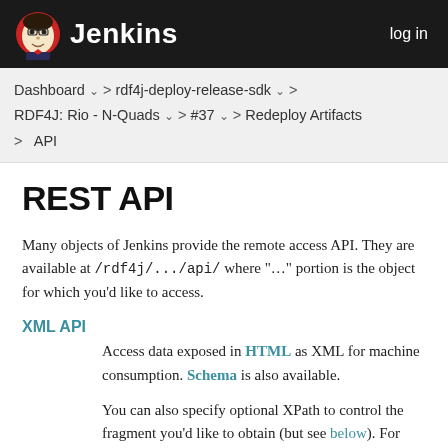Jenkins  log in
Dashboard  >  rdf4j-deploy-release-sdk  >  RDF4J: Rio - N-Quads  >  #37  >  Redeploy Artifacts  >  API
REST API
Many objects of Jenkins provide the remote access API. They are available at /rdf4j/.../api/ where "…" portion is the object for which you'd like to access.
XML API
Access data exposed in HTML as XML for machine consumption. Schema is also available.
You can also specify optional XPath to control the fragment you'd like to obtain (but see below). For